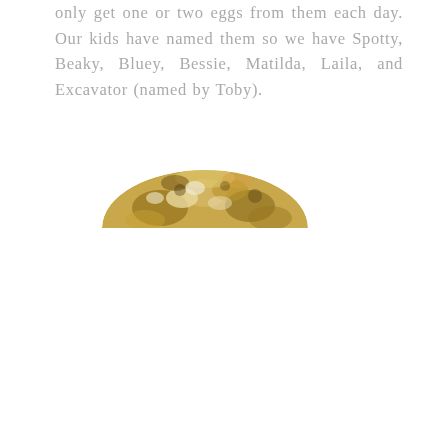only get one or two eggs from them each day. Our kids have named them so we have Spotty, Beaky, Bluey, Bessie, Matilda, Laila, and Excavator (named by Toby).
[Figure (photo): Partial top view of a chicken or bird with mottled brown, gold, and white feathers, showing just the upper portion of the animal against a white background.]